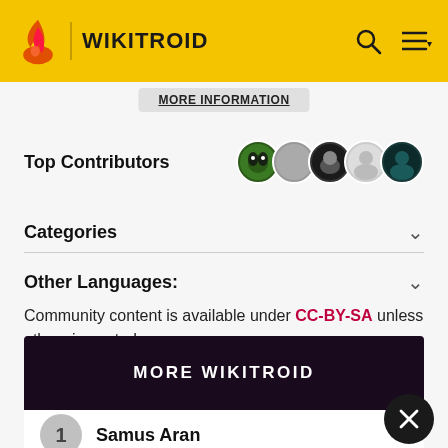WIKITROID
MORE INFORMATION
Top Contributors
Categories
Other Languages:
Community content is available under CC-BY-SA unless otherwise noted.
MORE WIKITROID
1  Samus Aran